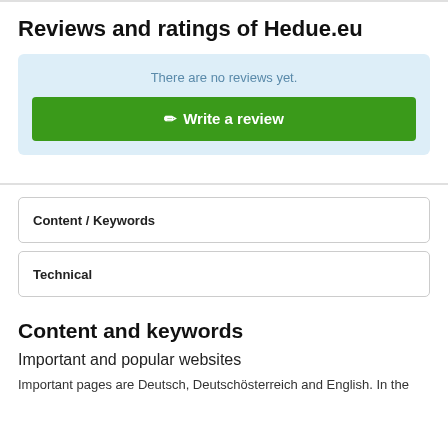Reviews and ratings of Hedue.eu
There are no reviews yet.
✏ Write a review
Content / Keywords
Technical
Content and keywords
Important and popular websites
Important pages are Deutsch, Deutschösterreich and English. In the